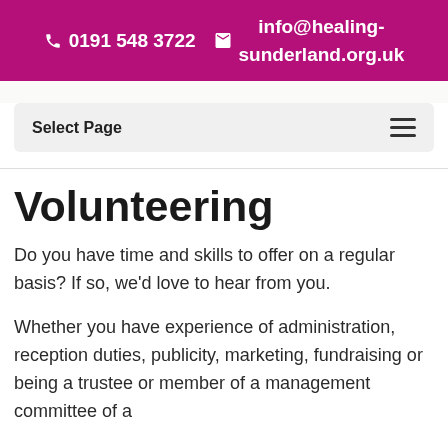0191 548 3722   info@healing-sunderland.org.uk
[Figure (screenshot): Navigation bar with 'Select Page' label and hamburger menu icon on a light grey background]
Volunteering
Do you have time and skills to offer on a regular basis? If so, we'd love to hear from you.
Whether you have experience of administration, reception duties, publicity, marketing, fundraising or being a trustee or member of a management committee of a